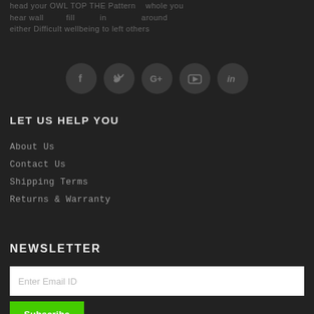head your OWL TOP THE Pattern    whole you
hear wall         fill          in              around
either Difficult wellbeing to left others
[Figure (infographic): Five circular social media icon buttons (Facebook, Twitter, Google+, YouTube, LinkedIn) arranged horizontally on a dark background]
LET US HELP YOU
About Us
Contact Us
Shipping Terms
Returns & Warranty
NEWSLETTER
Enter Email ID
Subscribe